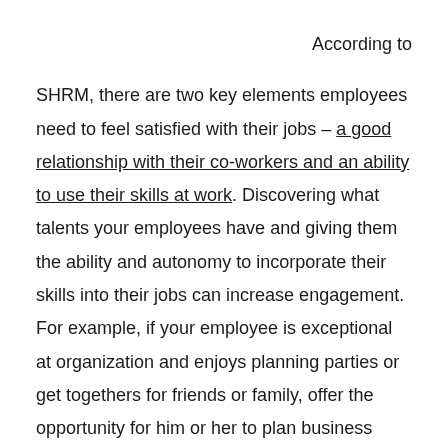According to SHRM, there are two key elements employees need to feel satisfied with their jobs – a good relationship with their co-workers and an ability to use their skills at work. Discovering what talents your employees have and giving them the ability and autonomy to incorporate their skills into their jobs can increase engagement. For example, if your employee is exceptional at organization and enjoys planning parties or get togethers for friends or family, offer the opportunity for him or her to plan business excursions, employee outreach events, or client appreciation efforts. This makes employees feel like they are getting to use their hobbies at work.
Development efforts for a specific employee role is also